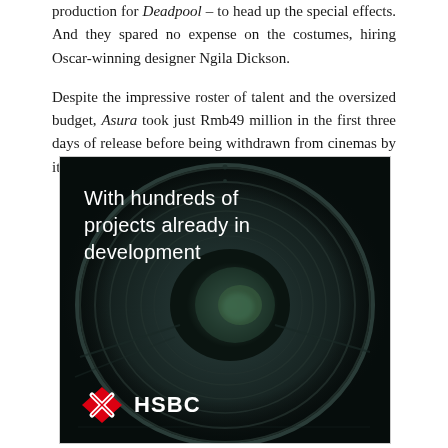production for Deadpool – to head up the special effects. And they spared no expense on the costumes, hiring Oscar-winning designer Ngila Dickson.
Despite the impressive roster of talent and the oversized budget, Asura took just Rmb49 million in the first three days of release before being withdrawn from cinemas by its own studio.
[Figure (photo): HSBC advertisement showing an industrial tunnel (large circular cross-section) with the text 'With hundreds of projects already in development' overlaid in white, and the HSBC logo (red hexagon icon) and wordmark in the bottom-left corner.]